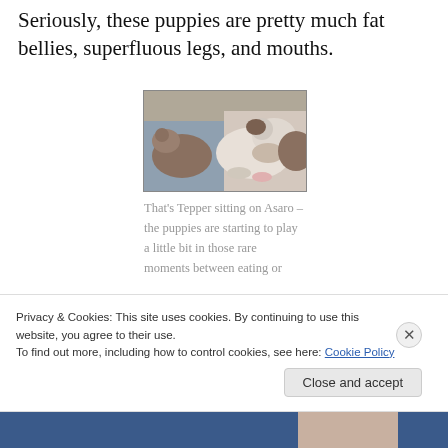Seriously, these puppies are pretty much fat bellies, superfluous legs, and mouths.
[Figure (photo): Photo of puppies, including Tepper sitting on Asaro, lying together on a blue surface near a couch]
That's Tepper sitting on Asaro – the puppies are starting to play a little bit in those rare moments between eating or sleeping. Mostly this
Privacy & Cookies: This site uses cookies. By continuing to use this website, you agree to their use.
To find out more, including how to control cookies, see here: Cookie Policy
Close and accept